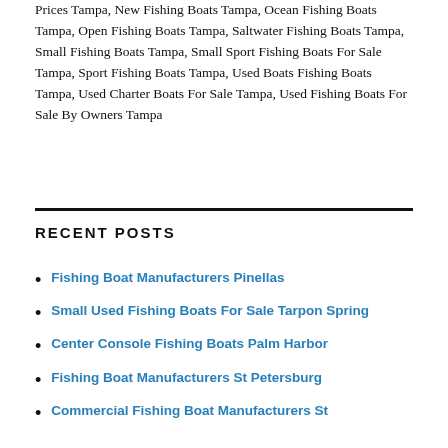Prices Tampa, New Fishing Boats Tampa, Ocean Fishing Boats Tampa, Open Fishing Boats Tampa, Saltwater Fishing Boats Tampa, Small Fishing Boats Tampa, Small Sport Fishing Boats For Sale Tampa, Sport Fishing Boats Tampa, Used Boats Fishing Boats Tampa, Used Charter Boats For Sale Tampa, Used Fishing Boats For Sale By Owners Tampa
RECENT POSTS
Fishing Boat Manufacturers Pinellas
Small Used Fishing Boats For Sale Tarpon Spring
Center Console Fishing Boats Palm Harbor
Fishing Boat Manufacturers St Petersburg
Commercial Fishing Boat Manufacturers St